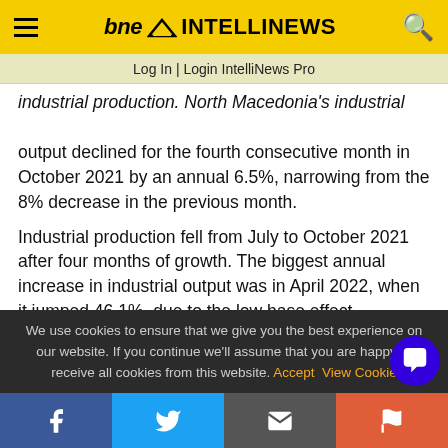bne INTELLINEWS
Log In | Login IntelliNews Pro
industrial production. North Macedonia's industrial output declined for the fourth consecutive month in October 2021 by an annual 6.5%, narrowing from the 8% decrease in the previous month.
Industrial production fell from July to October 2021 after four months of growth. The biggest annual increase in industrial output was in April 2022, when it jumped 46.1%, due to the low base effect.
We use cookies to ensure that we give you the best experience on our website. If you continue we'll assume that you are happy to receive all cookies from this website. Accept  View Cookie